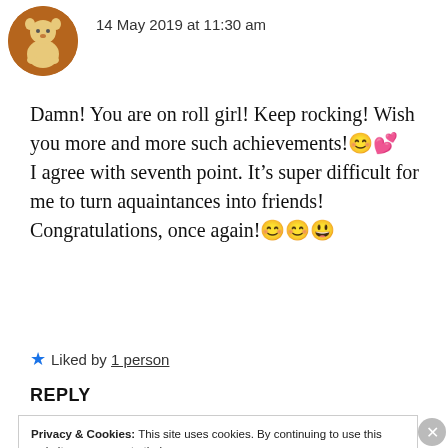[Figure (illustration): User avatar: circular icon with cartoon animal (brown background)]
14 May 2019 at 11:30 am
Damn! You are on roll girl! Keep rocking! Wish you more and more such achievements!😊💕
I agree with seventh point. It's super difficult for me to turn aquaintances into friends!
Congratulations, once again!😊😊😀
★ Liked by 1 person
REPLY
Privacy & Cookies: This site uses cookies. By continuing to use this website, you agree to their use.
To find out more, including how to control cookies, see here: Cookie Policy
Close and accept